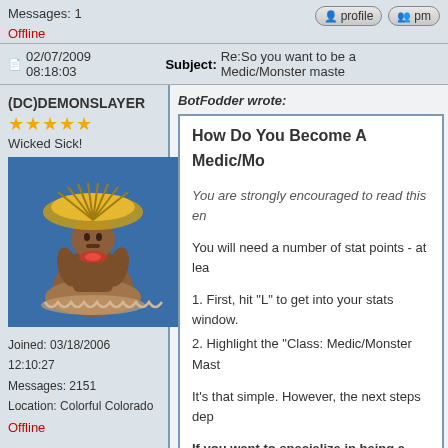Messages: 1
Offline
02/07/2009 08:18:03   Subject: Re:So you want to be a Medic/Monster master
(DC)DEMONSLAYER
★★★★★
Wicked Sick!
Joined: 03/18/2006 12:10:27
Messages: 2151
Location: Colorful Colorado
Offline
BotFodder wrote:
How Do You Become A Medic/Mo...

You are strongly encouraged to read this en...

You will need a number of stat points - at lea...

1. First, hit "L" to get into your stats window.
2. Highlight the "Class: Medic/Monster Mast...

It's that simple. However, the next steps dep...

If you want to specialize in being a medic...

Scroll through the list and find the "Loaded M... want to stop there. See the "Info" for this cla... page - included under the "Loaded Medic" d...

If you want to specialize in being a mons...